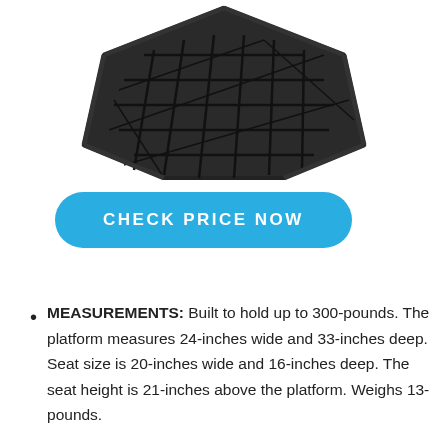[Figure (photo): Bottom view of a black metal mesh/grid platform product (likely a stool or stand) with geometric hexagonal/octagonal frame structure and cross-hatch mesh top surface.]
CHECK PRICE NOW
MEASUREMENTS: Built to hold up to 300-pounds. The platform measures 24-inches wide and 33-inches deep. Seat size is 20-inches wide and 16-inches deep. The seat height is 21-inches above the platform. Weighs 13-pounds.